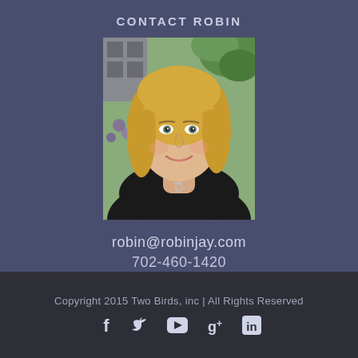CONTACT ROBIN
[Figure (photo): Professional headshot of Robin, a woman with blonde shoulder-length hair, wearing a black top with a key necklace, smiling, with green foliage in the background.]
robin@robinjay.com
702-460-1420
Copyright 2015 Two Birds, inc | All Rights Reserved
[Figure (infographic): Social media icons row: Facebook (f), Twitter (bird), YouTube (play button), Google+ (g+), LinkedIn (in)]